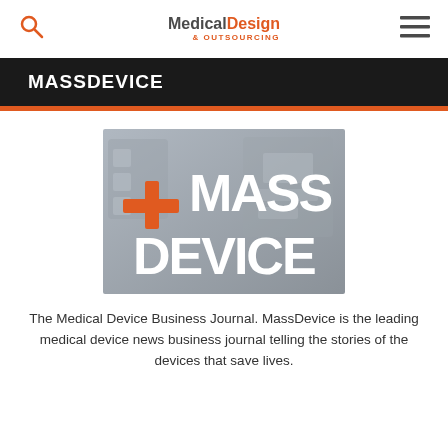Medical Design & Outsourcing
MASSDEVICE
[Figure (logo): MassDevice logo: orange plus sign followed by white bold text '+MASS DEVICE' on a grey medical equipment background]
The Medical Device Business Journal. MassDevice is the leading medical device news business journal telling the stories of the devices that save lives.